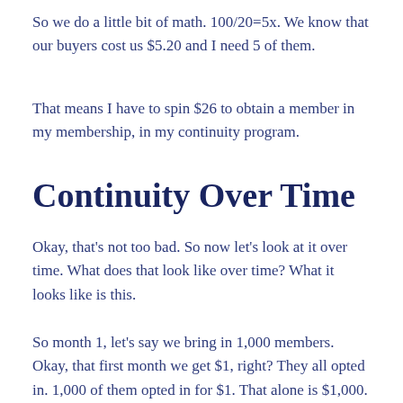So we do a little bit of math. 100/20=5x. We know that our buyers cost us $5.20 and I need 5 of them.
That means I have to spin $26 to obtain a member in my membership, in my continuity program.
Continuity Over Time
Okay, that’s not too bad. So now let’s look at it over time. What does that look like over time? What it looks like is this.
So month 1, let’s say we bring in 1,000 members. Okay, that first month we get $1, right? They all opted in. 1,000 of them opted in for $1. That alone is $1,000.